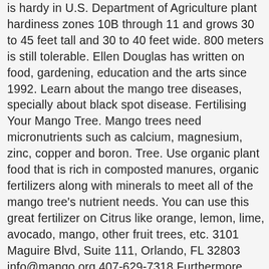is hardy in U.S. Department of Agriculture plant hardiness zones 10B through 11 and grows 30 to 45 feet tall and 30 to 40 feet wide. 800 meters is still tolerable. Ellen Douglas has written on food, gardening, education and the arts since 1992. Learn about the mango tree diseases, specially about black spot disease. Fertilising Your Mango Tree. Mango trees need micronutrients such as calcium, magnesium, zinc, copper and boron. Tree. Use organic plant food that is rich in composted manures, organic fertilizers along with minerals to meet all of the mango tree's nutrient needs. You can use this great fertilizer on Citrus like orange, lemon, lime, avocado, mango, other fruit trees, etc. 3101 Maguire Blvd, Suite 111, Orlando, FL 32803 info@mango.org 407-629-7318 Furthermore, Multi-K fertilizer has a positive effect on the fruit retention, fruit size and yield l. The large leaves are leathery, 5 to 16 inches in length, and remain on the tree for a year or more. It can grow in most landmasses along and near the equator/ Mango can be grown in almost all regions of the Philippines. © Copyright 2020 Hearst Communications, Inc.